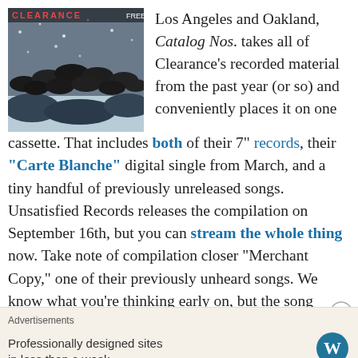[Figure (photo): Album cover for Clearance 'Catalog Nos.' showing black umbrellas and a crowd scene in winter]
Los Angeles and Oakland, Catalog Nos. takes all of Clearance's recorded material from the past year (or so) and conveniently places it on one cassette. That includes both of their 7" records, their "Carte Blanche" digital single from March, and a tiny handful of previously unreleased songs. Unsatisfied Records releases the compilation on September 16th, but you can stream the whole thing now. Take note of compilation closer “Merchant Copy,” one of their previously unheard songs. We know what you’re thinking early on, but the song transforms into an ecstatic and blown-out mess of melodically wigged-out guitar shards. If you’ve been sleeping on this band, this
Advertisements
Professionally designed sites in less than a week